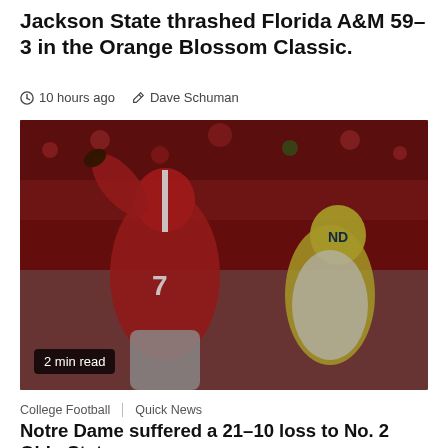Jackson State thrashed Florida A&M 59-3 in the Orange Blossom Classic.
10 hours ago  Dave Schuman
[Figure (photo): Football player wearing Ohio State red jersey number 7 throwing a pass, with a Notre Dame player in gold helmet rushing towards him. '2 min read' badge in bottom left corner.]
College Football  Quick News
Notre Dame suffered a 21-10 loss to No. 2 Ohio State.